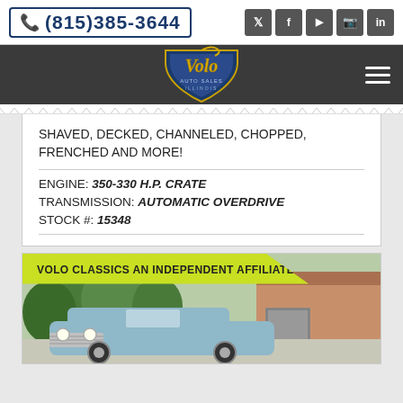(815)385-3644
[Figure (logo): Volo Auto Sales Illinois logo with gold script lettering and shield]
SHAVED, DECKED, CHANNELED, CHOPPED, FRENCHED AND MORE!
ENGINE: 350-330 H.P. CRATE
TRANSMISSION: AUTOMATIC OVERDRIVE
STOCK #: 15348
VOLO CLASSICS AN INDEPENDENT AFFILIATE
[Figure (photo): Classic light blue convertible car parked in front of a brick house with trees and landscaping]